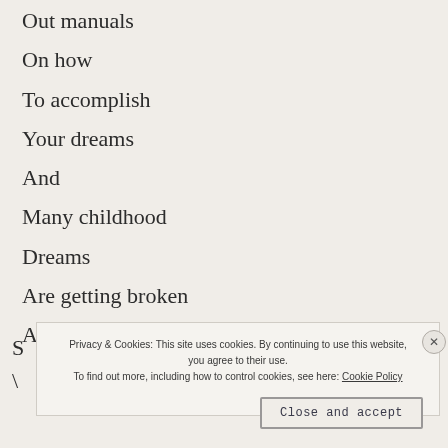Out manuals
On how
To accomplish
Your dreams
And
Many childhood
Dreams
Are getting broken
And crushed
S
\
Privacy & Cookies: This site uses cookies. By continuing to use this website, you agree to their use. To find out more, including how to control cookies, see here: Cookie Policy
Close and accept